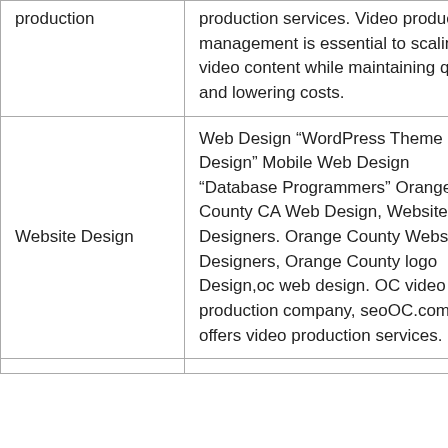| Category | Description |
| --- | --- |
| production | production services. Video production management is essential to scaling video content while maintaining quality and lowering costs. |
| Website Design | Web Design “WordPress Theme Design” Mobile Web Design “Database Programmers” Orange County CA Web Design, Website Designers. Orange County Website Designers, Orange County logo Design,oc web design. OC video production company, seoOC.com , offers video production services. |